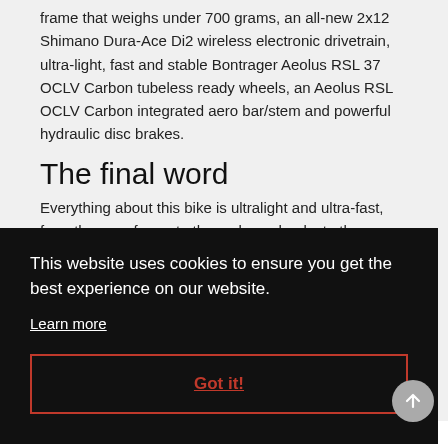frame that weighs under 700 grams, an all-new 2x12 Shimano Dura-Ace Di2 wireless electronic drivetrain, ultra-light, fast and stable Bontrager Aeolus RSL 37 OCLV Carbon tubeless ready wheels, an Aeolus RSL OCLV Carbon integrated aero bar/stem and powerful hydraulic disc brakes.
The final word
Everything about this bike is ultralight and ultra-fast, from the aero frame to the carbon wheels, to the precise, reliable shifting of the all-new wireless electronic Dura-Ace
This website uses cookies to ensure you get the best experience on our website.
Learn more
Got it!
3. 800 Series OCLV Carbon is the lightest laminate